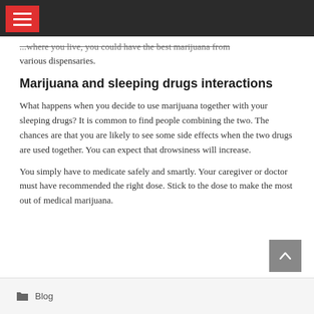[navigation bar with menu icon]
...where you live, you could have the best marijuana from various dispensaries.
Marijuana and sleeping drugs interactions
What happens when you decide to use marijuana together with your sleeping drugs? It is common to find people combining the two. The chances are that you are likely to see some side effects when the two drugs are used together. You can expect that drowsiness will increase.
You simply have to medicate safely and smartly. Your caregiver or doctor must have recommended the right dose. Stick to the dose to make the most out of medical marijuana.
Blog